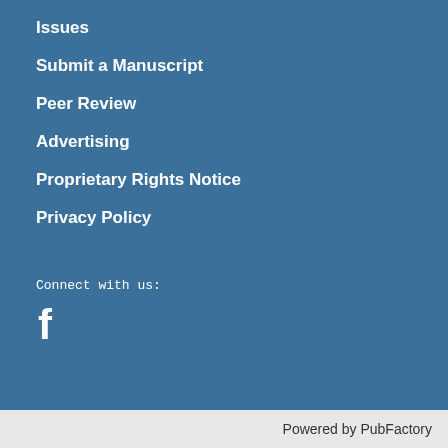Issues
Submit a Manuscript
Peer Review
Advertising
Proprietary Rights Notice
Privacy Policy
Connect with us:
[Figure (logo): Facebook logo icon (f) in white]
Powered by PubFactory